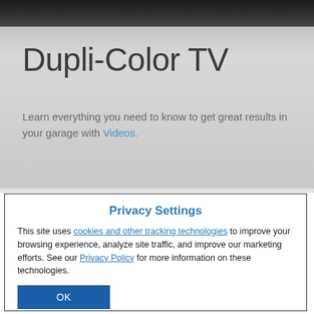[Figure (screenshot): Top dark photo strip showing a garage/car scene background]
Dupli-Color TV
Learn everything you need to know to get great results in your garage with Videos.
Privacy Settings
This site uses cookies and other tracking technologies to improve your browsing experience, analyze site traffic, and improve our marketing efforts. See our Privacy Policy for more information on these technologies.
OK